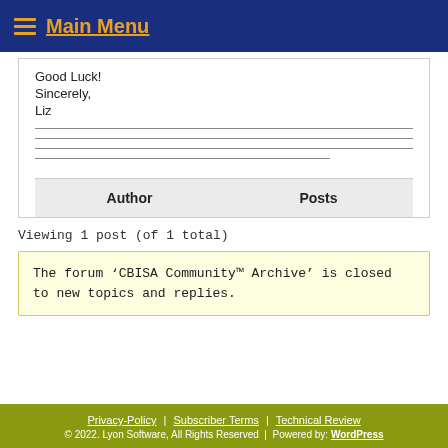Main Menu
Good Luck!
Sincerely,
Liz
| Author | Posts |
| --- | --- |
Viewing 1 post (of 1 total)
The forum ‘CBISA Community™ Archive’ is closed to new topics and replies.
Privacy-Policy | Subscriber Terms | Technical Review
© 2022. Lyon Software, All Rights Reserved | Powered by: WordPress